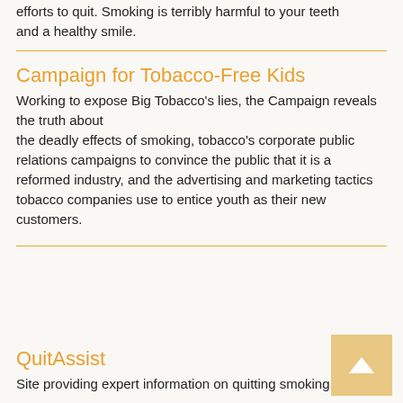efforts to quit. Smoking is terribly harmful to your teeth and a healthy smile.
Campaign for Tobacco-Free Kids
Working to expose Big Tobacco's lies, the Campaign reveals the truth about the deadly effects of smoking, tobacco's corporate public relations campaigns to convince the public that it is a reformed industry, and the advertising and marketing tactics tobacco companies use to entice youth as their new customers.
QuitAssist
Site providing expert information on quitting smoking.